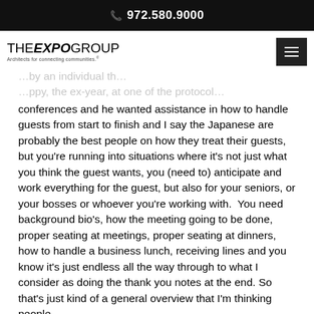972.580.9000
[Figure (logo): The Expo Group logo with tagline 'Architects for connecting communities.']
conferences and he wanted assistance in how to handle guests from start to finish and I say the Japanese are probably the best people on how they treat their guests, but you’re running into situations where it’s not just what you think the guest wants, you (need to) anticipate and work everything for the guest, but also for your seniors, or your bosses or whoever you’re working with.  You need background bio’s, how the meeting going to be done, proper seating at meetings, proper seating at dinners, how to handle a business lunch, receiving lines and you know it’s just endless all the way through to what I consider as doing the thank you notes at the end. So that’s just kind of a general overview that I’m thinking people